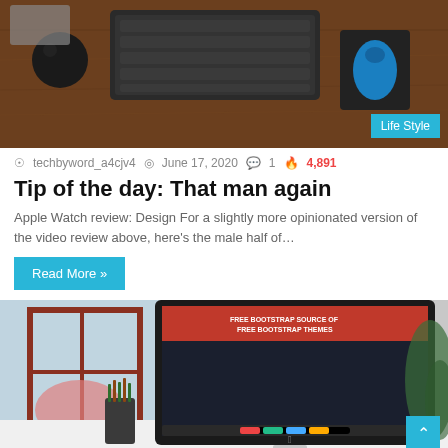[Figure (photo): Top-down photo of a wooden desk with a keyboard, mouse, and small black speaker]
techbyword_a4cjv4  June 17, 2020  1  4,891
Tip of the day: That man again
Apple Watch review: Design For a slightly more opinionated version of the video review above, here's the male half of…
Read More »
[Figure (photo): iMac on a desk near a window showing a website about free Bootstrap themes, with pencils in a cup holder nearby]